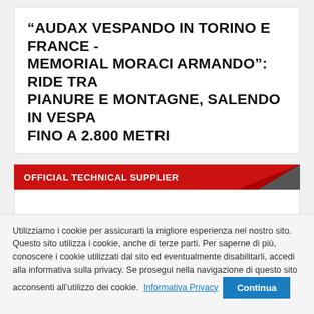“AUDAX VESPANDO IN TORINO E FRANCE - MEMORIAL MORACI ARMANDO”: RIDE TRA PIANURE E MONTAGNE, SALENDO IN VESPA FINO A 2.800 METRI
OFFICIAL TECHNICAL SUPPLIER
Utilizziamo i cookie per assicurarti la migliore esperienza nel nostro sito. Questo sito utilizza i cookie, anche di terze parti. Per saperne di più, conoscere i cookie utilizzati dal sito ed eventualmente disabilitarli, accedi alla informativa sulla privacy. Se prosegui nella navigazione di questo sito acconsenti all’utilizzo dei cookie.  Informativa Privacy  Continua